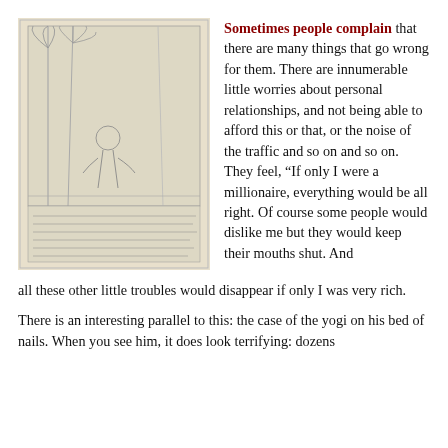[Figure (illustration): A pencil sketch/drawing of a yogi or figure among trees, with handwritten text at the bottom of the image. The artwork appears to be an old illustration with a cream/yellowish background.]
Sometimes people complain that there are many things that go wrong for them. There are innumerable little worries about personal relationships, and not being able to afford this or that, or the noise of the traffic and so on and so on. They feel, “If only I were a millionaire, everything would be all right. Of course some people would dislike me but they would keep their mouths shut. And all these other little troubles would disappear if only I was very rich.
There is an interesting parallel to this: the case of the yogi on his bed of nails. When you see him, it does look terrifying: dozens